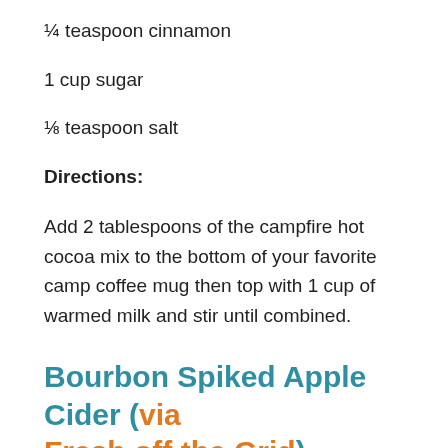¼ teaspoon cinnamon
1 cup sugar
⅛ teaspoon salt
Directions:
Add 2 tablespoons of the campfire hot cocoa mix to the bottom of your favorite camp coffee mug then top with 1 cup of warmed milk and stir until combined.
Bourbon Spiked Apple Cider (via Fresh off the Grid)
Nothing says “cozy” like warm apple cider. It’s easy to